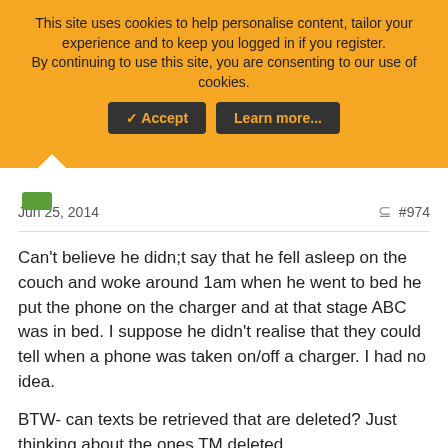This site uses cookies to help personalise content, tailor your experience and to keep you logged in if you register.
By continuing to use this site, you are consenting to our use of cookies.
✓ Accept   Learn more...
Jun 25, 2014   #974
Can't believe he didn;t say that he fell asleep on the couch and woke around 1am when he went to bed he put the phone on the charger and at that stage ABC was in bed. I suppose he didn't realise that they could tell when a phone was taken on/off a charger. I had no idea.
BTW- can texts be retrieved that are deleted? Just thinking about the ones TM deleted.